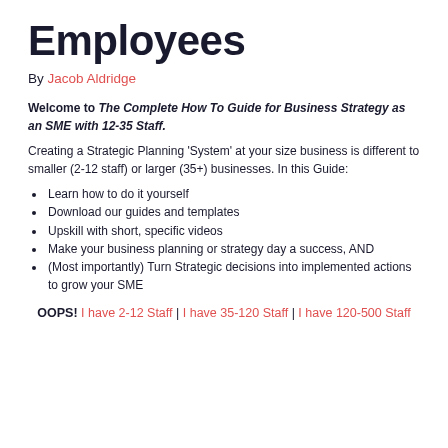Employees
By Jacob Aldridge
Welcome to The Complete How To Guide for Business Strategy as an SME with 12-35 Staff.
Creating a Strategic Planning 'System' at your size business is different to smaller (2-12 staff) or larger (35+) businesses. In this Guide:
Learn how to do it yourself
Download our guides and templates
Upskill with short, specific videos
Make your business planning or strategy day a success, AND
(Most importantly) Turn Strategic decisions into implemented actions to grow your SME
OOPS! I have 2-12 Staff | I have 35-120 Staff | I have 120-500 Staff